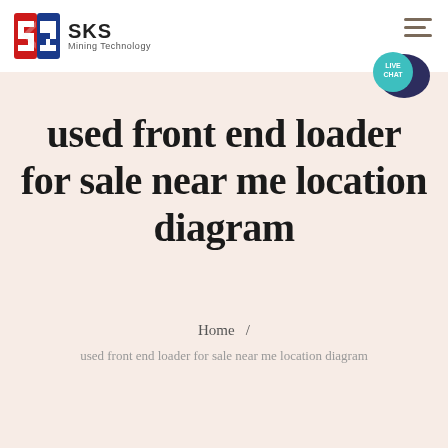[Figure (logo): SKS Mining Technology logo with red and blue stylized S icon and text 'SKS Mining Technology']
[Figure (other): Hamburger menu icon (three horizontal brown lines) in top right corner]
[Figure (other): LIVE CHAT speech bubble icon in teal/dark blue colors, positioned top right]
used front end loader for sale near me location diagram
Home  /
used front end loader for sale near me location diagram